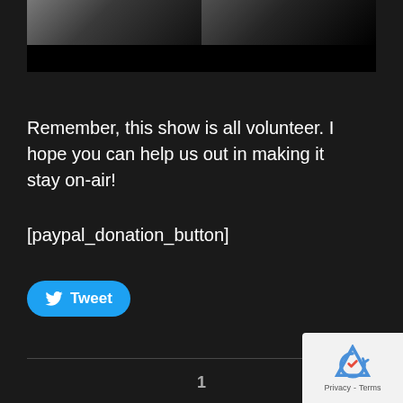[Figure (photo): Dark photo strip showing two people against black background, partially cropped at top]
Remember, this show is all volunteer. I hope you can help us out in making it stay on-air!
[paypal_donation_button]
[Figure (other): Tweet button (blue rounded rectangle with Twitter bird icon and 'Tweet' text)]
1